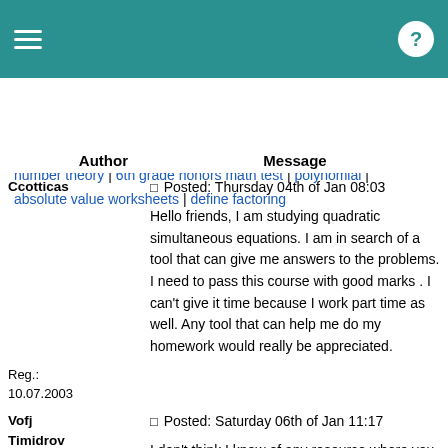☰  [header bar with hamburger menu and help button]
number theory | 6th grade honors math test | polynomial | absolute value worksheets | define factoring
| Author | Message |
| --- | --- |
| Ccotticas | ☐ Posted: Thursday 04th of Jan 08:03

Hello friends, I am studying quadratic simultaneous equations. I am in search of a tool that can give me answers to the problems. I need to pass this course with good marks . I can't give it time because I work part time as well. Any tool that can help me do my homework would really be appreciated. |
| Reg.:
10.07.2003 |  |
| Vofj Timidrov | ☐ Posted: Saturday 06th of Jan 11:17

I don't think I know of any resource where you can get your answers of quadratic simultaneous equations checked within hours. There however are a couple of companies which do offer help , but one has to wait for at least 24 hours before getting any reply .What I know for sure is that, this software called Algebrator, that I used during my college career was really good and I |